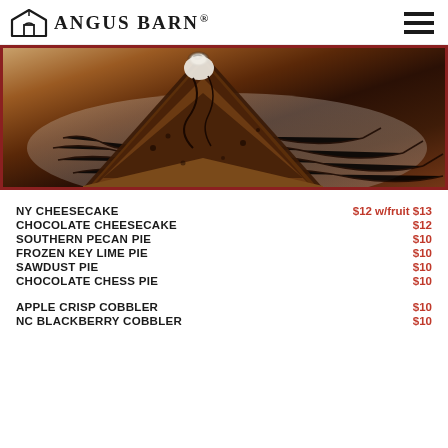ANGUS BARN
[Figure (photo): Close-up photo of a chocolate dessert slice (appears to be a chocolate pecan or brownie pie) topped with whipped cream, drizzled with chocolate sauce on a plate with chocolate sauce drizzle pattern]
NY CHEESECAKE  $12 w/fruit $13
CHOCOLATE CHEESECAKE  $12
SOUTHERN PECAN PIE  $10
FROZEN KEY LIME PIE  $10
SAWDUST PIE  $10
CHOCOLATE CHESS PIE  $10
APPLE CRISP COBBLER  $10
NC BLACKBERRY COBBLER  $10